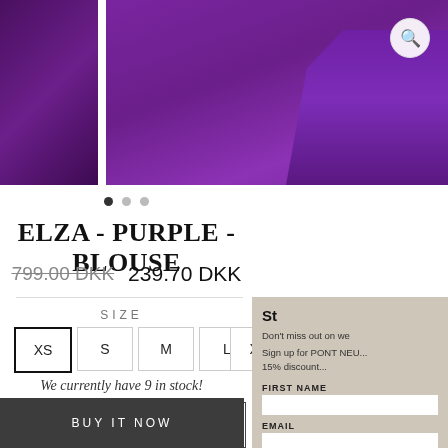[Figure (photo): Purple velvet blouse product photos: small thumbnail on left showing purple fabric, main image in center showing purple velvet blouse with flared skirt portion, magnify icon in top right corner]
• • •
ELZA - PURPLE - BLOUSE
799.00 DKK  239.70 DKK
SIZE
XS  S  M  L  XL  2XL
We currently have 9 in stock!
ADD TO CART
BUY IT NOW
St
Don't miss out on we
Sign up for PONT NEU... 15% discount...
FIRST NAME
EMAIL